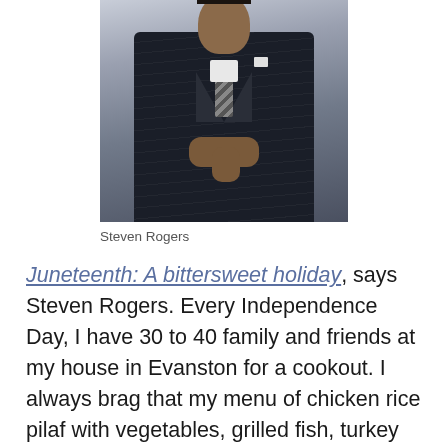[Figure (photo): Portrait photo of Steven Rogers, a man in a dark pinstripe suit with a white pocket square and striped tie, seated with hands clasped, against a light gray background.]
Steven Rogers
Juneteenth: A bittersweet holiday, says Steven Rogers. Every Independence Day, I have 30 to 40 family and friends at my house in Evanston for a cookout. I always brag that my menu of chicken rice pilaf with vegetables, grilled fish, turkey burgers, chicken hot links, grilled Brussels sprouts, asparagus, cabbage, and baked sweet